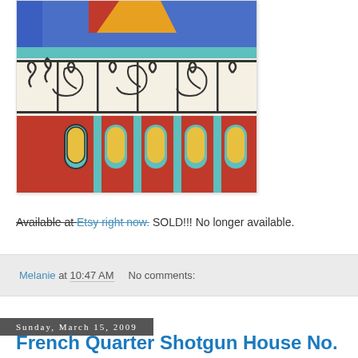[Figure (illustration): Colorful artwork depicting a French Quarter building with decorative wrought-iron scrollwork balcony, arched windows in yellow and teal, red facade, and blue sky background. Painted in a vibrant folk-art style.]
Available at Etsy right now. SOLD!!! No longer available.
Melanie at 10:47 AM   No comments:
Sunday, March 15, 2009
French Quarter Shotgun House No. 225